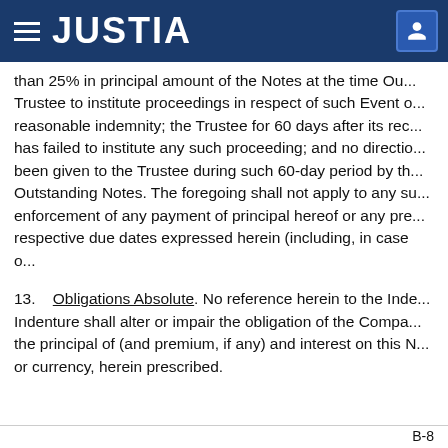JUSTIA
than 25% in principal amount of the Notes at the time Out... Trustee to institute proceedings in respect of such Event o... reasonable indemnity; the Trustee for 60 days after its rec... has failed to institute any such proceeding; and no directio... been given to the Trustee during such 60-day period by th... Outstanding Notes. The foregoing shall not apply to any su... enforcement of any payment of principal hereof or any pre... respective due dates expressed herein (including, in case o...
13.   Obligations Absolute. No reference herein to the Inde... Indenture shall alter or impair the obligation of the Compa... the principal of (and premium, if any) and interest on this N... or currency, herein prescribed.
B-8